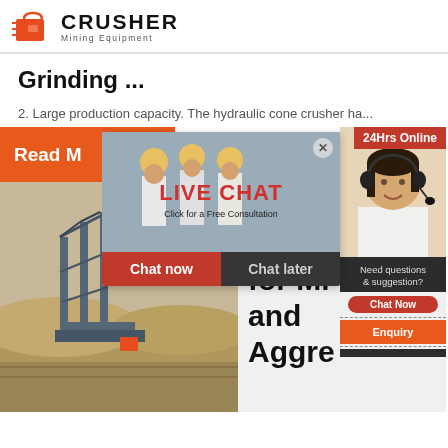[Figure (logo): Crusher Mining Equipment logo with red shopping bag icon and bold CRUSHER text]
Grinding ...
2. Large production capacity. The hydraulic cone crusher ha...
[Figure (screenshot): Live chat popup overlay with construction workers in hard hats, LIVE CHAT text in red, Click for a Free Consultation subtitle, Chat now and Chat later buttons, 24Hrs Online badge top right, woman with headset on right side, Need questions & suggestion? box with Chat Now oval button, Enquiry section, limingjlmofen@sina.com email at bottom]
[Figure (photo): Mining equipment/conveyor belt machinery at an outdoor mining site with desert landscape]
Hydro Cone for Mi and Aggre